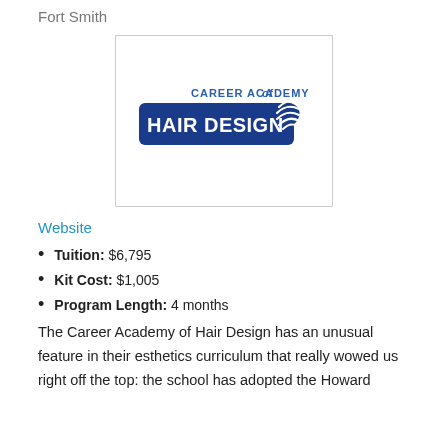Fort Smith
[Figure (logo): Career Academy of Hair Design logo — dark blue shield/banner shape with 'CAREER ACADEMY of HAIR DESIGN' in white text and stylized hair swoosh graphic on the right]
Website
Tuition: $6,795
Kit Cost: $1,005
Program Length: 4 months
The Career Academy of Hair Design has an unusual feature in their esthetics curriculum that really wowed us right off the top: the school has adopted the Howard